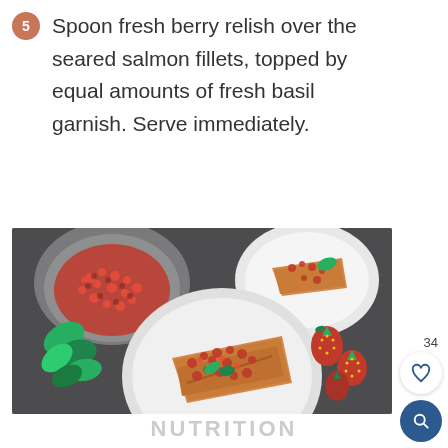5  Spoon fresh berry relish over the seared salmon fillets, topped by equal amounts of fresh basil garnish. Serve immediately.
[Figure (photo): Overhead photo showing seared salmon fillets topped with fresh berry relish on white plates, a glass bowl of berry relish, fresh basil leaves, and strawberries arranged on a dark slate surface.]
34
NUTRITION